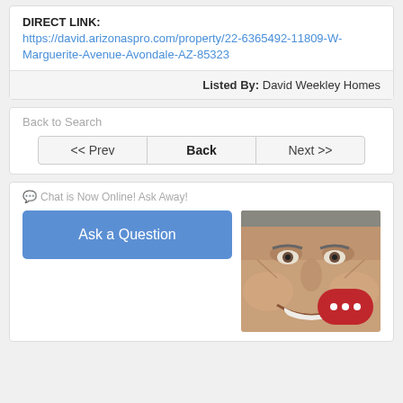DIRECT LINK:
https://david.arizonaspro.com/property/22-6365492-11809-W-Marguerite-Avenue-Avondale-AZ-85323
Listed By: David Weekley Homes
Back to Search
<< Prev   Back   Next >>
Chat is Now Online! Ask Away!
Ask a Question
[Figure (photo): Close-up photo of a smiling man's face with a red chat badge overlay in the bottom right corner]